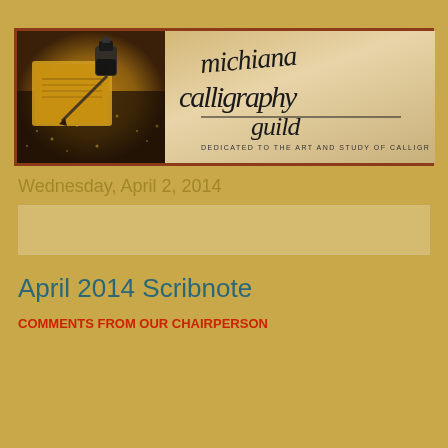[Figure (logo): Michiana Calligraphy Guild banner with photo of ink bottle and calligraphy pen on the left, and stylized calligraphy text logo on the right reading 'michiana calligraphy guild - dedicated to the art and study of calligraphy']
Wednesday, April 2, 2014
April 2014 Scribnote
COMMENTS FROM OUR CHAIRPERSON